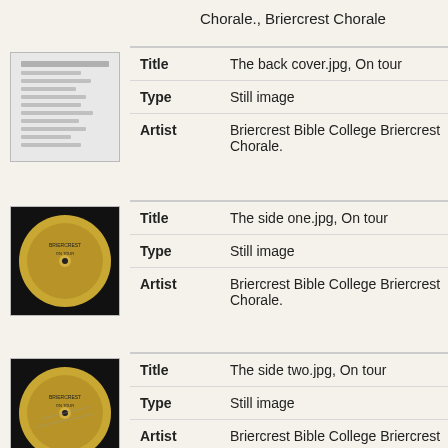Chorale., Briercrest Chorale
| Field | Value |
| --- | --- |
| Title | The back cover.jpg, On tour |
| Type | Still image |
| Artist | Briercrest Bible College Briercrest Chorale. |
| Field | Value |
| --- | --- |
| Title | The side one.jpg, On tour |
| Type | Still image |
| Artist | Briercrest Bible College Briercrest Chorale. |
| Field | Value |
| --- | --- |
| Title | The side two.jpg, On tour |
| Type | Still image |
| Artist | Briercrest Bible College Briercrest |